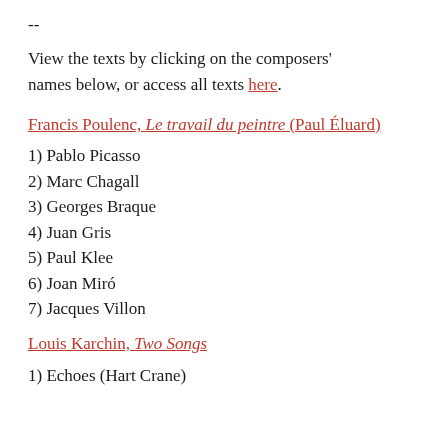--
View the texts by clicking on the composers' names below, or access all texts here.
Francis Poulenc, Le travail du peintre (Paul Éluard)
1) Pablo Picasso
2) Marc Chagall
3) Georges Braque
4) Juan Gris
5) Paul Klee
6) Joan Miró
7) Jacques Villon
Louis Karchin, Two Songs
1) Echoes (Hart Crane)